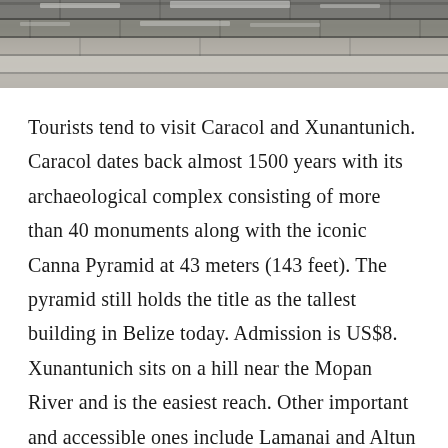[Figure (photo): Close-up photograph of ancient stone steps or ruins, showing layered stone blocks with a weathered, grey texture. The image appears to show the terraced stonework of a Mayan archaeological site.]
Tourists tend to visit Caracol and Xunantunich. Caracol dates back almost 1500 years with its archaeological complex consisting of more than 40 monuments along with the iconic Canna Pyramid at 43 meters (143 feet). The pyramid still holds the title as the tallest building in Belize today. Admission is US$8. Xunantunich sits on a hill near the Mopan River and is the easiest reach. Other important and accessible ones include Lamanai and Altun Ha. The best way to visit the Mayan ruins is to join a tour.